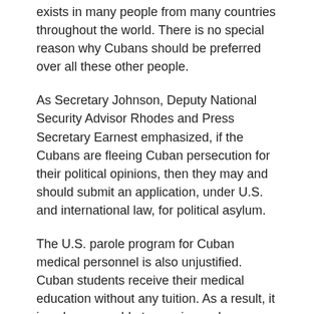exists in many people from many countries throughout the world. There is no special reason why Cubans should be preferred over all these other people.
As Secretary Johnson, Deputy National Security Advisor Rhodes and Press Secretary Earnest emphasized, if the Cubans are fleeing Cuban persecution for their political opinions, then they may and should submit an application, under U.S. and international law, for political asylum.
The U.S. parole program for Cuban medical personnel is also unjustified. Cuban students receive their medical education without any tuition. As a result, it is only reasonable to require such students, after receiving their medical degrees, to “give back” by serving on a Cuban foreign medical mission for which they are paid more than they would have earned in Cuba. Yes, the Cuban government is paid more for their services on such missions by foreign governments than the medical